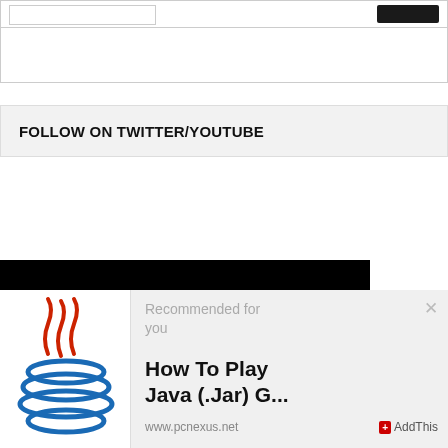[Figure (screenshot): Top bar with input field and dark button]
FOLLOW ON TWITTER/YOUTUBE
[Figure (screenshot): Black bar with cookie notice text: This website uses third party cookies. By]
[Figure (logo): Java programming language logo — red steam wisps above blue coffee cup rings]
Recommended for you
How To Play Java (.Jar) G...
www.pcnexus.net
AddThis